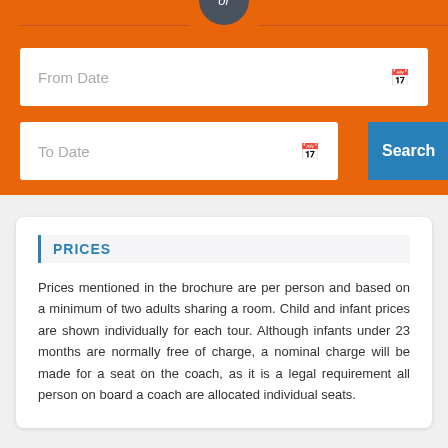[Figure (screenshot): Orange search form section with 'or' divider circle, From Date input box, To Date input box, and Search button]
PRICES
Prices mentioned in the brochure are per person and based on a minimum of two adults sharing a room. Child and infant prices are shown individually for each tour. Although infants under 23 months are normally free of charge, a nominal charge will be made for a seat on the coach, as it is a legal requirement all person on board a coach are allocated individual seats.